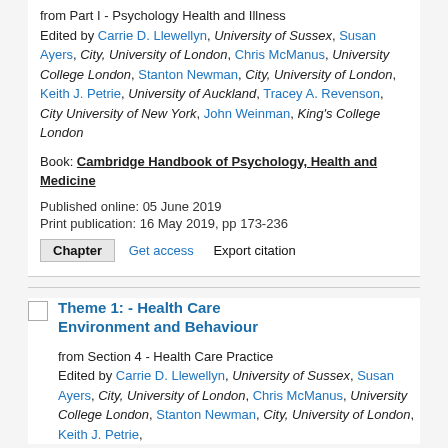from Part I - Psychology Health and Illness
Edited by Carrie D. Llewellyn, University of Sussex, Susan Ayers, City, University of London, Chris McManus, University College London, Stanton Newman, City, University of London, Keith J. Petrie, University of Auckland, Tracey A. Revenson, City University of New York, John Weinman, King's College London
Book: Cambridge Handbook of Psychology, Health and Medicine
Published online: 05 June 2019
Print publication: 16 May 2019, pp 173-236
Chapter | Get access | Export citation
Theme 1: - Health Care Environment and Behaviour
from Section 4 - Health Care Practice
Edited by Carrie D. Llewellyn, University of Sussex, Susan Ayers, City, University of London, Chris McManus, University College London, Stanton Newman, City, University of London, Keith J. Petrie,